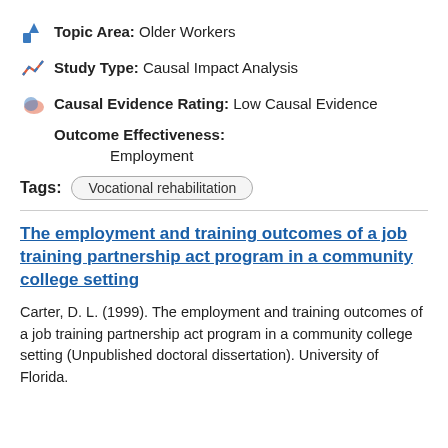Topic Area: Older Workers
Study Type: Causal Impact Analysis
Causal Evidence Rating: Low Causal Evidence
Outcome Effectiveness:
Employment
Tags: Vocational rehabilitation
The employment and training outcomes of a job training partnership act program in a community college setting
Carter, D. L. (1999). The employment and training outcomes of a job training partnership act program in a community college setting (Unpublished doctoral dissertation). University of Florida.